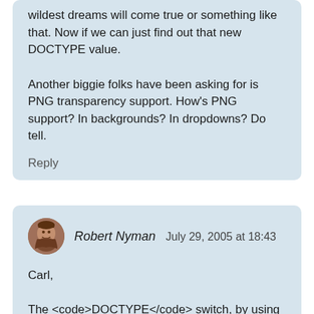wildest dreams will come true or something like that. Now if we can just find out that new DOCTYPE value.

Another biggie folks have been asking for is PNG transparency support. How's PNG support? In backgrounds? In dropdowns? Do tell.
Reply
Robert Nyman  July 29, 2005 at 18:43
Carl,

The <code>DOCTYPE</code> switch, by using a <acronym title="eXtensible HyperText Markup Language">XHTML</acronym> or a strict <acronym title="HyperText Markup Language">HTML</acronym> 4 <code>DOCTYPE</code>, is exactly the same as in <acronym title="Internet Explorer">IE</acronym> 6, for